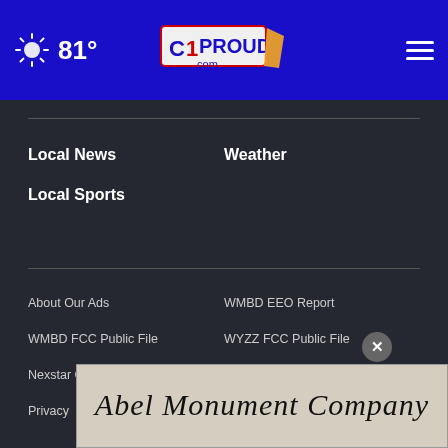81° | CIProud.com
Local News
Weather
Local Sports
About Our Ads
WMBD EEO Report
WMBD FCC Public File
WYZZ FCC Public File
Nexstar CC Certification
FCC Applications.
Privacy
[Figure (logo): Abel Monument Company advertisement banner with cursive text on stone texture background]